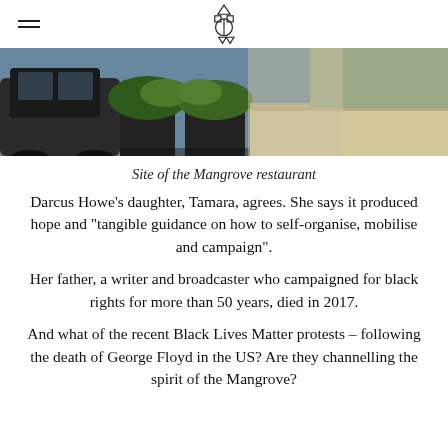[logo and hamburger menu]
[Figure (photo): Street-level photograph of the site of the Mangrove restaurant, showing a car parked on the left, large planters with green foliage, a blue building wall, and a yellow door in the background.]
Site of the Mangrove restaurant
Darcus Howe’s daughter, Tamara, agrees. She says it produced hope and “tangible guidance on how to self-organise, mobilise and campaign”.
Her father, a writer and broadcaster who campaigned for black rights for more than 50 years, died in 2017.
And what of the recent Black Lives Matter protests – following the death of George Floyd in the US? Are they channelling the spirit of the Mangrove?